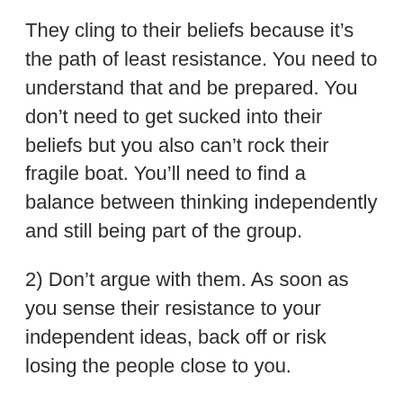They cling to their beliefs because it’s the path of least resistance. You need to understand that and be prepared. You don’t need to get sucked into their beliefs but you also can’t rock their fragile boat. You’ll need to find a balance between thinking independently and still being part of the group.
2) Don’t argue with them. As soon as you sense their resistance to your independent ideas, back off or risk losing the people close to you.
3) Alternatively, you might be better off losing some of them. That’s something you’ll have to decide for yourself. Keep in mind the Pareto Principle; the 80/20 rule. See this interesting EXPLANATION
80% of people aren’t worth your effort. That leaves the